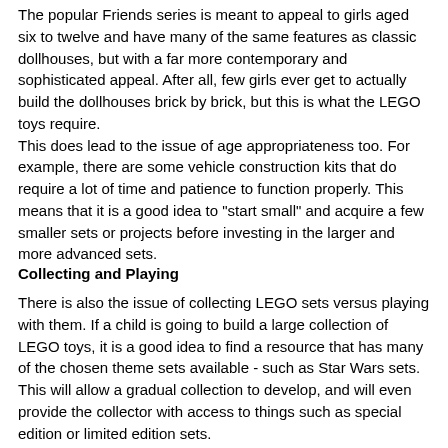The popular Friends series is meant to appeal to girls aged six to twelve and have many of the same features as classic dollhouses, but with a far more contemporary and sophisticated appeal. After all, few girls ever get to actually build the dollhouses brick by brick, but this is what the LEGO toys require.
This does lead to the issue of age appropriateness too. For example, there are some vehicle construction kits that do require a lot of time and patience to function properly. This means that it is a good idea to "start small" and acquire a few smaller sets or projects before investing in the larger and more advanced sets.
Collecting and Playing
There is also the issue of collecting LEGO sets versus playing with them. If a child is going to build a large collection of LEGO toys, it is a good idea to find a resource that has many of the chosen theme sets available - such as Star Wars sets. This will allow a gradual collection to develop, and will even provide the collector with access to things such as special edition or limited edition sets. For instance, there are Minifigures available, and these are not likely to be among the sets that are constantly on the market.